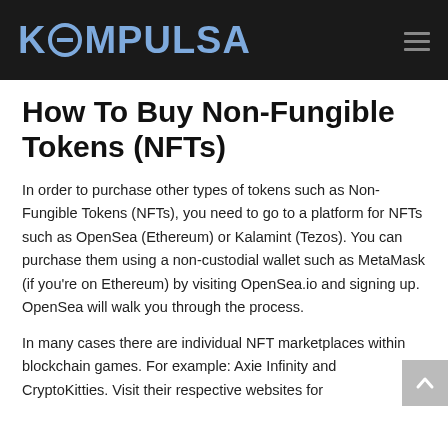KOMPULSA
How To Buy Non-Fungible Tokens (NFTs)
In order to purchase other types of tokens such as Non-Fungible Tokens (NFTs), you need to go to a platform for NFTs such as OpenSea (Ethereum) or Kalamint (Tezos). You can purchase them using a non-custodial wallet such as MetaMask (if you're on Ethereum) by visiting OpenSea.io and signing up. OpenSea will walk you through the process.
In many cases there are individual NFT marketplaces within blockchain games. For example: Axie Infinity and CryptoKitties. Visit their respective websites for